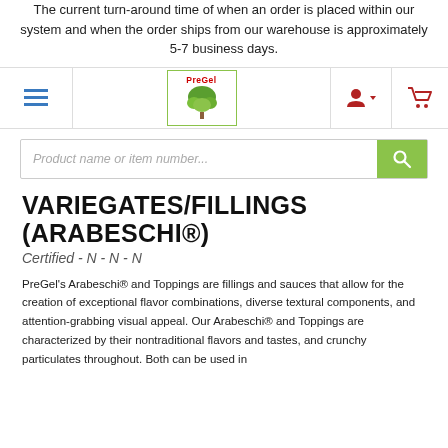The current turn-around time of when an order is placed within our system and when the order ships from our warehouse is approximately 5-7 business days.
[Figure (screenshot): PreGel website navigation bar with hamburger menu, PreGel logo, user icon, and cart icon]
[Figure (screenshot): Search bar with placeholder text 'Product name or item number...' and green search button]
VARIEGATES/FILLINGS (ARABESCHI®)
Certified - N - N - N
PreGel's Arabeschi® and Toppings are fillings and sauces that allow for the creation of exceptional flavor combinations, diverse textural components, and attention-grabbing visual appeal. Our Arabeschi® and Toppings are characterized by their nontraditional flavors and tastes, and crunchy particulates throughout. Both can be used in